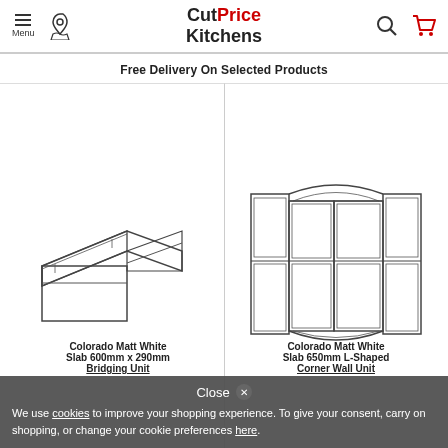CutPrice Kitchens — Menu, Phone, Search, Cart
Free Delivery On Selected Products
[Figure (illustration): Line drawing of a Colorado Matt White Slab 600mm x 290mm Bridging Unit cabinet with lift-up door]
[Figure (illustration): Line drawing of a Colorado Matt White Slab 650mm L-Shaped Corner Wall Unit cabinet]
Colorado Matt White Slab 600mm x 290mm Bridging Unit
Colorado Matt White Slab 650mm L-Shaped Corner Wall Unit
Close ⊗ We use cookies to improve your shopping experience. To give your consent, carry on shopping, or change your cookie preferences here.